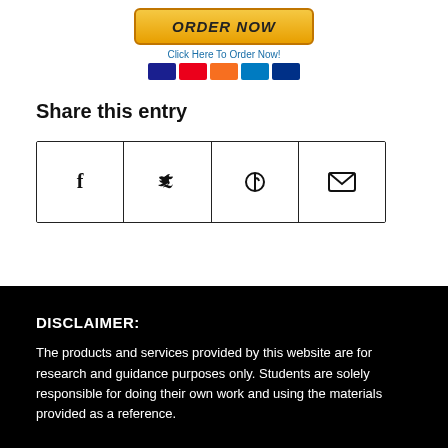[Figure (other): Order Now button with yellow/gold gradient styling, 'Click Here To Order Now!' link text, and payment icons below]
Share this entry
[Figure (other): Social sharing grid with Facebook, Twitter, Pinterest, and Email icons in bordered cells]
DISCLAIMER:
The products and services provided by this website are for research and guidance purposes only. Students are solely responsible for doing their own work and using the materials provided as a reference.